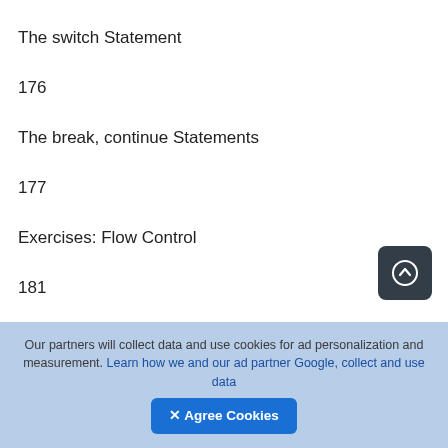The switch Statement
176
The break, continue Statements
177
Exercises: Flow Control
181
Reviewing the Exercises
[Figure (other): Scroll-to-top button: dark rounded square with a circled upward arrow icon]
Our partners will collect data and use cookies for ad personalization and measurement. Learn how we and our ad partner Google, collect and use data
✕ Agree Cookies